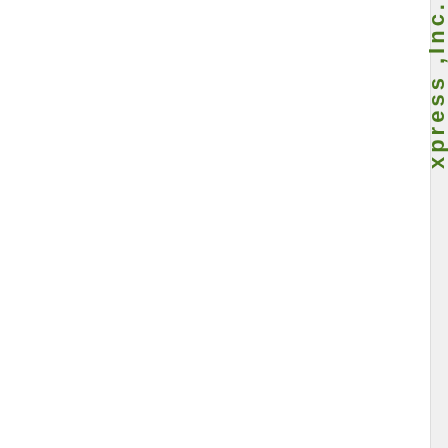xpress, Inc.
review, 0 reviews
Freight Forwarding, Customs Brokers, Trucking Companies, Freight Brokers
(406)